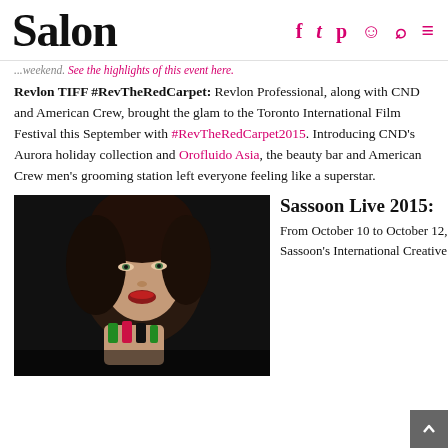Salon
See the highlights of this event here.
Revlon TIFF #RevTheRedCarpet: Revlon Professional, along with CND and American Crew, brought the glam to the Toronto International Film Festival this September with #RevTheRedCarpet2015. Introducing CND's Aurora holiday collection and Orofluido Asia, the beauty bar and American Crew men's grooming station left everyone feeling like a superstar.
[Figure (photo): Close-up photo of a woman with dark wavy hair and red lips, holding her hand near her face showing decorated nails, against a dark background.]
Sassoon Live 2015: From October 10 to October 12, Sassoon's International Creative